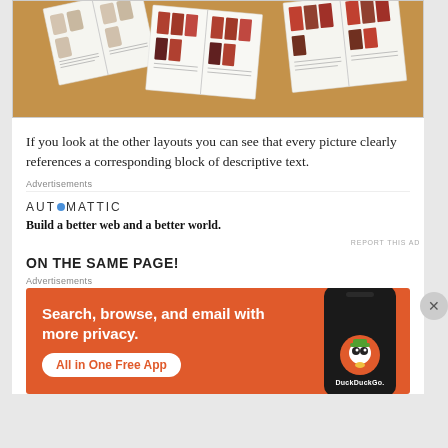[Figure (photo): Overhead view of multiple open books/magazines spread out on a wooden floor, showing illustrated character guides with figures and descriptive text]
If you look at the other layouts you can see that every picture clearly references a corresponding block of descriptive text.
Advertisements
[Figure (infographic): Automattic advertisement with logo and tagline: Build a better web and a better world.]
REPORT THIS AD
ON THE SAME PAGE!
Advertisements
[Figure (infographic): DuckDuckGo advertisement on orange background with text: Search, browse, and email with more privacy. All in One Free App. Shows a phone with DuckDuckGo logo.]